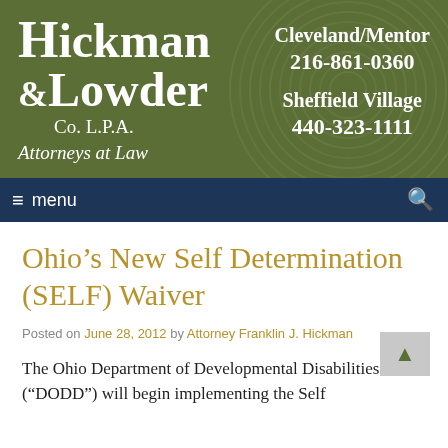[Figure (logo): Hickman & Lowder Co. L.P.A. Attorneys at Law law firm logo on olive/green background with wood ring circle graphic. Contact info: Cleveland/Mentor 216-861-0360, Sheffield Village 440-323-1111]
menu
Ohio’s New Self Determination (SELF) Waiver
Posted on June 28, 2012 by Attorney Franklin J. Hickman
The Ohio Department of Developmental Disabilities (“DODD”) will begin implementing the Self